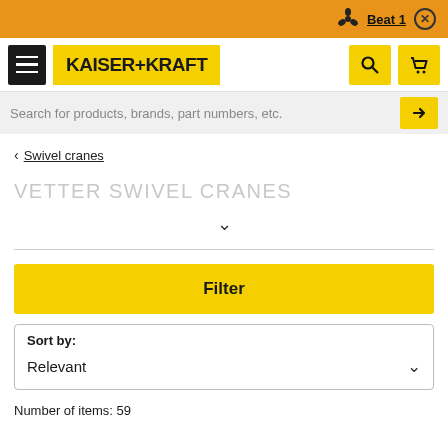[Figure (screenshot): Orange top browser notification bar with fan icon, Beat1 text, and close button]
[Figure (logo): Kaiser+Kraft yellow logo with hamburger menu, search and cart icons]
Search for products, brands, part numbers, etc.
< Swivel cranes
VETTER SWIVEL CRANES
Filter
Sort by: Relevant
Number of items: 59